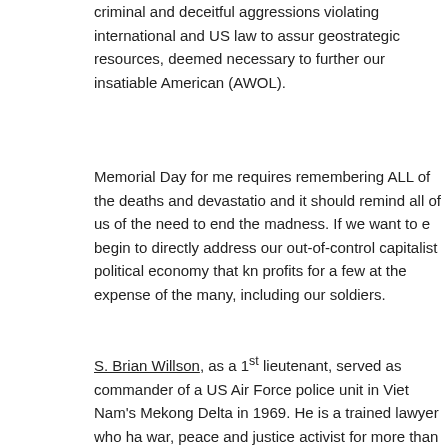criminal and deceitful aggressions violating international and US law to assure geostrategic resources, deemed necessary to further our insatiable American (AWOL).
Memorial Day for me requires remembering ALL of the deaths and devastation, and it should remind all of us of the need to end the madness. If we want to e... begin to directly address our out-of-control capitalist political economy that kn... profits for a few at the expense of the many, including our soldiers.
S. Brian Willson, as a 1st lieutenant, served as commander of a US Air Force police unit in Viet Nam's Mekong Delta in 1969. He is a trained lawyer who ha... war, peace and justice activist for more than forty years. His psychohistorical... On The Tracks: The Life and Times of S. Brian Willson" was published in 201... His book “Don’t Thank Me For My Service: My Viet Nam Awakening to the Lo... Lies” was published in 2018 by Clarity Press. A documentary was produced i... the Price For Peace: The Story of S. Brian Willson (and Others in the Peace M... Boudart Productions. A long time member of Veterans For Peace, he current... town south of Managua, Nicaragua.
This entry was written by brian, posted on at 11:20 am, filed under Brian's Bl... Dangerous of Rogue Nations: The United States, Pax Americana, Vietnam. B...